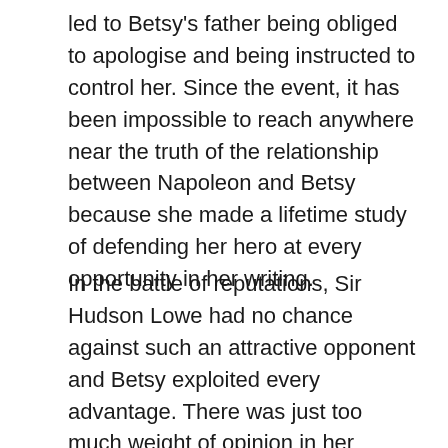led to Betsy's father being obliged to apologise and being instructed to control her. Since the event, it has been impossible to reach anywhere near the truth of the relationship between Napoleon and Betsy because she made a lifetime study of defending her hero at every opportunity in her writing.
In the battle of reputations, Sir Hudson Lowe had no chance against such an attractive opponent and Betsy exploited every advantage. There was just too much weight of opinion in her favour.